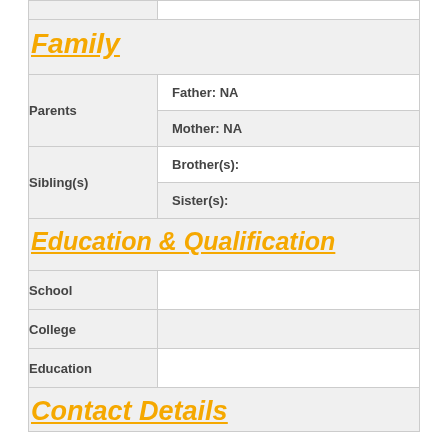Family
| Parents | Father: NA | Mother: NA |
| Sibling(s) | Brother(s): | Sister(s): |
Education & Qualification
| School |  |
| College |  |
| Education |  |
Contact Details